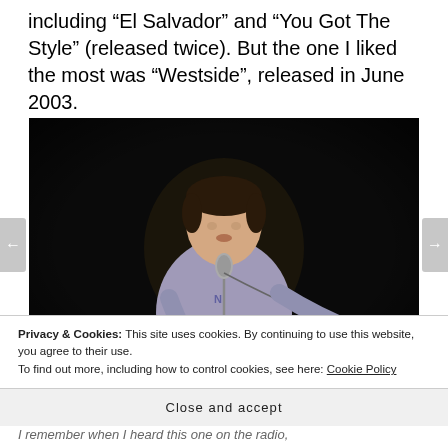including “El Salvador” and “You Got The Style” (released twice). But the one I liked the most was “Westside”, released in June 2003.
[Figure (photo): A young man standing at a microphone with a guitar, lit against a dark background, performing on stage.]
Privacy & Cookies: This site uses cookies. By continuing to use this website, you agree to their use. To find out more, including how to control cookies, see here: Cookie Policy
Close and accept
I remember when I heard this one on the radio,